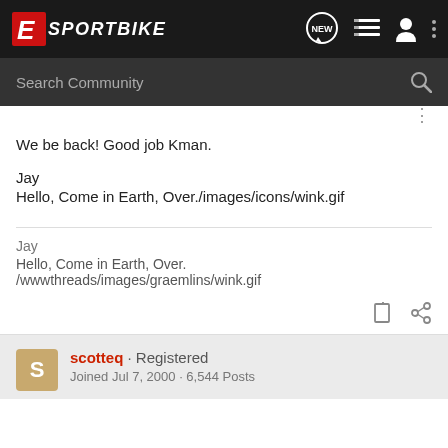E SPORTBIKE
We be back! Good job Kman.

Jay
Hello, Come in Earth, Over./images/icons/wink.gif
Jay
Hello, Come in Earth, Over. /wwwthreads/images/graemlins/wink.gif
scotteq · Registered
Joined Jul 7, 2000 · 6,544 Posts